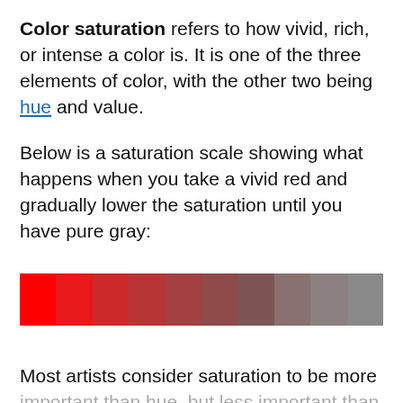Color saturation refers to how vivid, rich, or intense a color is. It is one of the three elements of color, with the other two being hue and value.
Below is a saturation scale showing what happens when you take a vivid red and gradually lower the saturation until you have pure gray:
[Figure (infographic): A horizontal saturation scale bar showing a gradient from vivid red on the left through progressively desaturated reds to pure gray on the right, divided into approximately 10 equal segments.]
Most artists consider saturation to be more important than hue, but less important than value for painting with a sense of realism. In